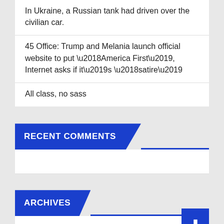In Ukraine, a Russian tank had driven over the civilian car.
45 Office: Trump and Melania launch official website to put ‘America First’, Internet asks if it’s ‘satire’
All class, no sass
RECENT COMMENTS
ARCHIVES
February 2022